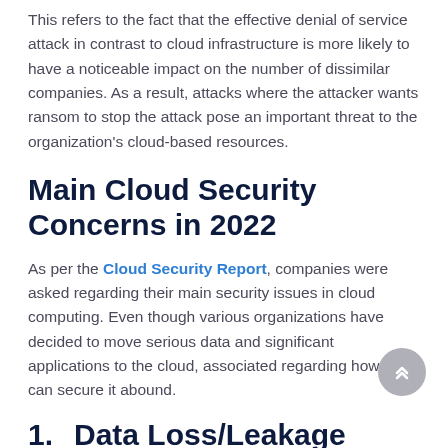This refers to the fact that the effective denial of service attack in contrast to cloud infrastructure is more likely to have a noticeable impact on the number of dissimilar companies. As a result, attacks where the attacker wants ransom to stop the attack pose an important threat to the organization's cloud-based resources.
Main Cloud Security Concerns in 2022
As per the Cloud Security Report, companies were asked regarding their main security issues in cloud computing. Even though various organizations have decided to move serious data and significant applications to the cloud, associated regarding how they can secure it abound.
1.    Data Loss/Leakage